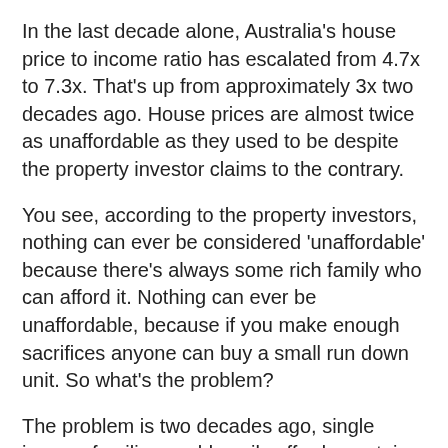In the last decade alone, Australia's house price to income ratio has escalated from 4.7x to 7.3x. That's up from approximately 3x two decades ago. House prices are almost twice as unaffordable as they used to be despite the property investor claims to the contrary.
You see, according to the property investors, nothing can ever be considered 'unaffordable' because there's always some rich family who can afford it. Nothing can ever be unaffordable, because if you make enough sacrifices anyone can buy a small run down unit. So what's the problem?
The problem is two decades ago, single income families could easily afford a certain standard of dwelling. Now it requires dual incomes to afford that same standard of dwelling. Houses are less affordable then they used to be, it really is that simple.
Of course, if you make enough sacrifices, scrimp and save, and take on a massive soul destroying mortgage, then anyone can 'afford' to buy. But does that make it affordable? I don't think so. Housing is not affordable if we're forced to